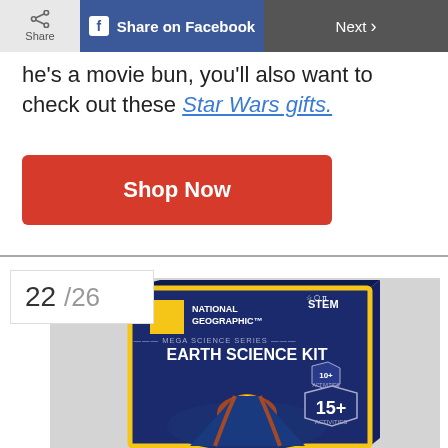Share | Share on Facebook | Next
he's a movie bun, you'll also want to check out these Star Wars gifts.
Shop Now
22 /26
[Figure (photo): National Geographic Mega Science Series Earth Science Kit box showing a volcano eruption image, STEM label, 10+ and 15+ activities badges]